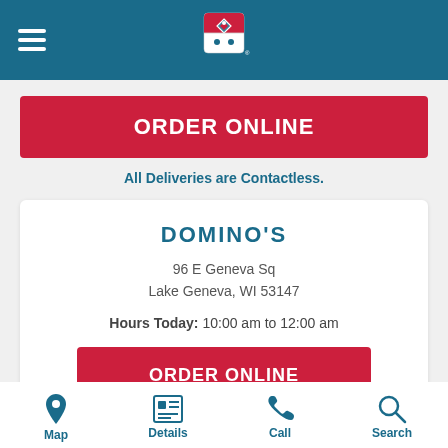[Figure (logo): Domino's Pizza logo — red and blue domino tile with white dots, centered in teal/dark blue header bar with hamburger menu icon on left]
ORDER ONLINE
All Deliveries are Contactless.
DOMINO'S
96 E Geneva Sq
Lake Geneva, WI 53147
Hours Today: 10:00 am to 12:00 am
ORDER ONLINE
Map
Details
Call
Search